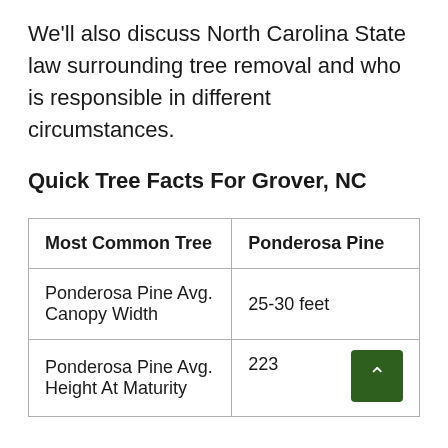We'll also discuss North Carolina State law surrounding tree removal and who is responsible in different circumstances.
Quick Tree Facts For Grover, NC
| Most Common Tree | Ponderosa Pine |
| --- | --- |
| Ponderosa Pine Avg. Canopy Width | 25-30 feet |
| Ponderosa Pine Avg. Height At Maturity | 223 |